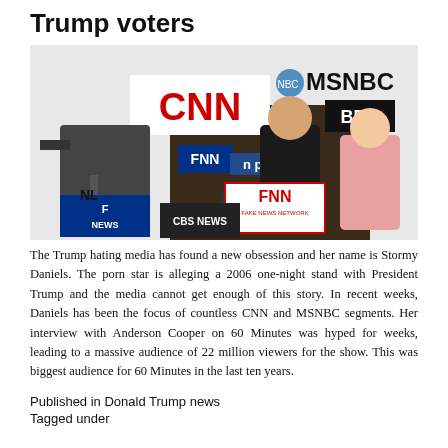Trump voters
[Figure (photo): Collage of news media logos (CNN, MSNBC, BBC, FNN, NPR, Fox News, CBS News, NBC) alongside images of Donald Trump at a podium and a blonde woman, with a 'FNN Fake News Network' sign on the podium.]
The Trump hating media has found a new obsession and her name is Stormy Daniels. The porn star is alleging a 2006 one-night stand with President Trump and the media cannot get enough of this story. In recent weeks, Daniels has been the focus of countless CNN and MSNBC segments. Her interview with Anderson Cooper on 60 Minutes was hyped for weeks, leading to a massive audience of 22 million viewers for the show. This was biggest audience for 60 Minutes in the last ten years.
Published in Donald Trump news
Tagged under